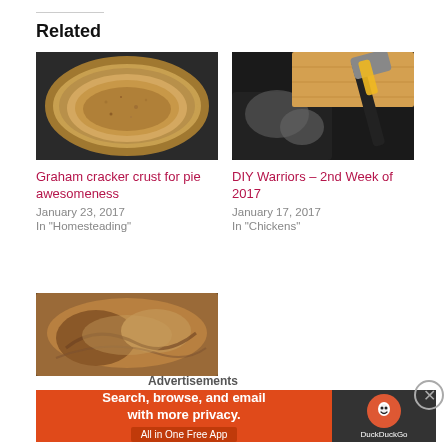Related
[Figure (photo): Graham cracker crust in a pie dish, golden brown, top-down view]
Graham cracker crust for pie awesomeness
January 23, 2017
In "Homesteading"
[Figure (photo): Hammer with yellow handle resting on wooden board with garbage bags in background]
DIY Warriors – 2nd Week of 2017
January 17, 2017
In "Chickens"
[Figure (photo): Baked bread or pie, cross-section view showing brown interior]
Advertisements
[Figure (screenshot): DuckDuckGo advertisement banner: Search, browse, and email with more privacy. All in One Free App]